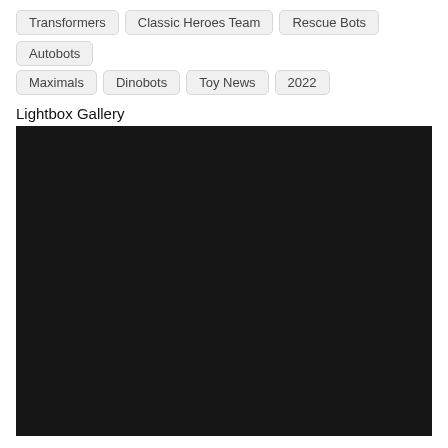Transformers
Classic Heroes Team
Rescue Bots
Autobots
Maximals
Dinobots
Toy News
2022
Lightbox Gallery
[Figure (photo): Large dark/black image area, appears to be a very dark or black photograph filling most of the lower portion of the page.]